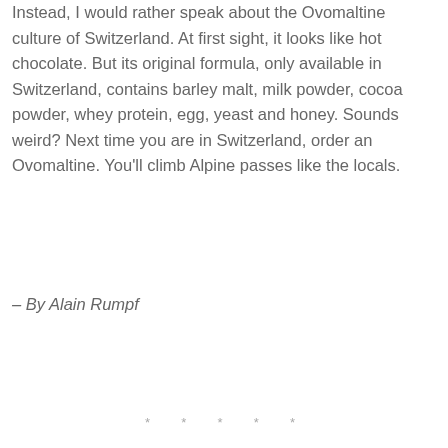Instead, I would rather speak about the Ovomaltine culture of Switzerland. At first sight, it looks like hot chocolate. But its original formula, only available in Switzerland, contains barley malt, milk powder, cocoa powder, whey protein, egg, yeast and honey. Sounds weird? Next time you are in Switzerland, order an Ovomaltine. You'll climb Alpine passes like the locals.
– By Alain Rumpf
* * * * *